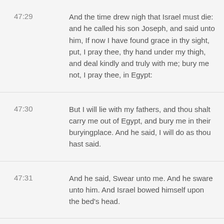47:29 And the time drew nigh that Israel must die: and he called his son Joseph, and said unto him, If now I have found grace in thy sight, put, I pray thee, thy hand under my thigh, and deal kindly and truly with me; bury me not, I pray thee, in Egypt:
47:30 But I will lie with my fathers, and thou shalt carry me out of Egypt, and bury me in their buryingplace. And he said, I will do as thou hast said.
47:31 And he said, Swear unto me. And he sware unto him. And Israel bowed himself upon the bed's head.